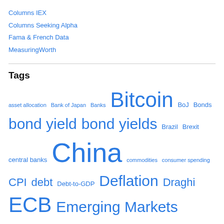Columns IEX
Columns Seeking Alpha
Fama & French Data
MeasuringWorth
Tags
asset allocation Bank of Japan Banks Bitcoin BoJ Bonds bond yield bond yields Brazil Brexit central banks China commodities consumer spending CPI debt Debt-to-GDP Deflation Draghi ECB Emerging Markets Equities Equity returns Euro Eurozone Fed Federal Open Market Committee Federal Reserve Federal Reserve System FOMC GDP gdp growth Gold government bonds